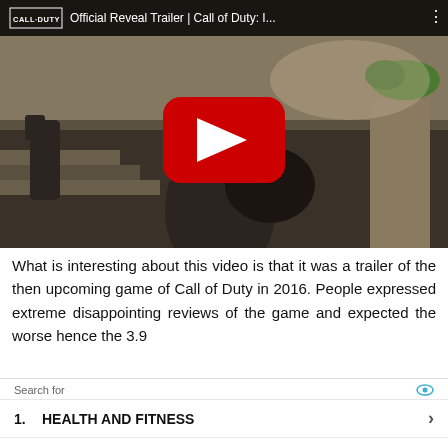[Figure (screenshot): YouTube video thumbnail for 'Official Reveal Trailer | Call of Duty: I...' showing a soldier in futuristic armor with a large weapon in a war-torn environment. Red YouTube play button in center. Dark top bar with CALL DUTY logo and video title.]
What is interesting about this video is that it was a trailer of the then upcoming game of Call of Duty in 2016. People expressed extreme disappointing reviews of the game and expected the worse hence the 3.9
Search for
1.  HEALTH AND FITNESS  ›
2.  MAKE MONEY ONLINE  ›